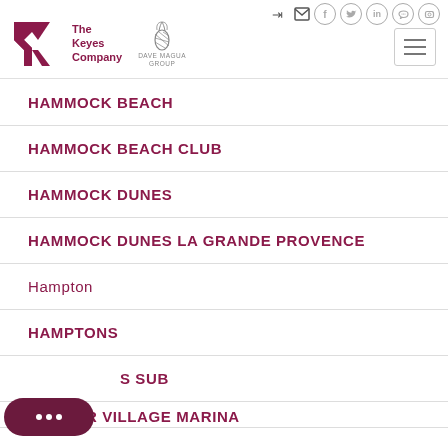[Figure (logo): The Keyes Company logo with magenta K and text, alongside Dave Magua Group pineapple logo]
HAMMOCK BEACH
HAMMOCK BEACH CLUB
HAMMOCK DUNES
HAMMOCK DUNES LA GRANDE PROVENCE
Hampton
HAMPTONS
S SUB
HARBOR VILLAGE MARINA